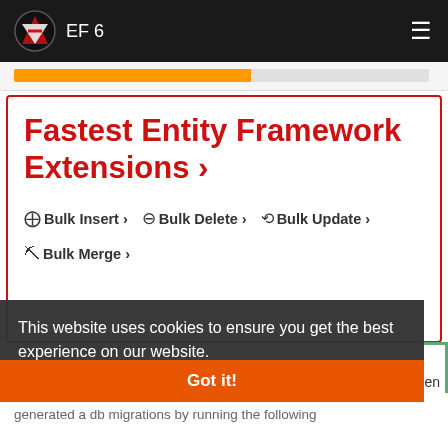EF 6
Fastest Entity Framework Extensions ›
⊕ Bulk Insert ›   ⊖ Bulk Delete ›   ↺ Bulk Update ›
⑂ Bulk Merge ›
This website uses cookies to ensure you get the best experience on our website.
Learn more
Accepted Answer
Got it!
then generated a db migrations by running the following